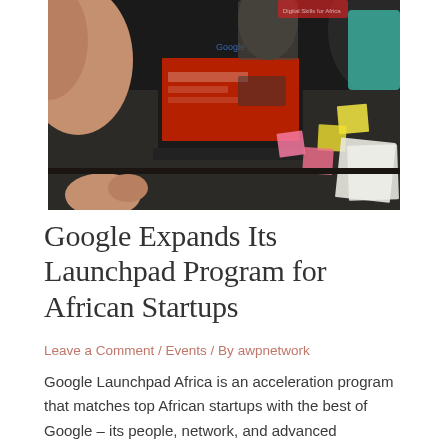[Figure (photo): Group of people around a table, one with an open Dell laptop showing a red presentation screen, yellow and pink sticky notes on the table, papers and books, participants in discussion.]
Google Expands Its Launchpad Program for African Startups
Leave a Comment / Events / By awpnetwork
Google Launchpad Africa is an acceleration program that matches top African startups with the best of Google – its people, network, and advanced technologies – to help build great products. The program, which runs for three (3) months and will operate out of Lagos, will over the next three (3) years provide African startups with over …